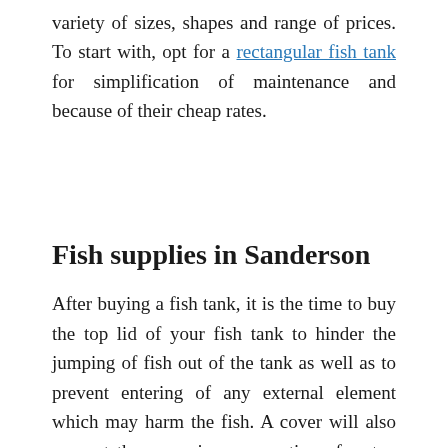variety of sizes, shapes and range of prices. To start with, opt for a rectangular fish tank for simplification of maintenance and because of their cheap rates.
Fish supplies in Sanderson
After buying a fish tank, it is the time to buy the top lid of your fish tank to hinder the jumping of fish out of the tank as well as to prevent entering of any external element which may harm the fish. A cover will also prevent the excessive evaporation of water, hence reducing your hard work.